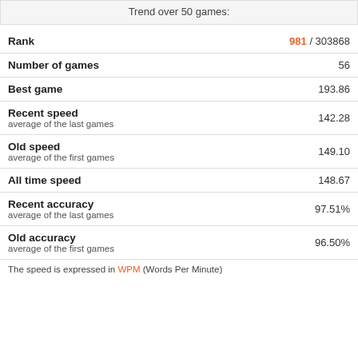Trend over 50 games:
| Metric | Value |
| --- | --- |
| Rank | 981 / 303868 |
| Number of games | 56 |
| Best game | 193.86 |
| Recent speed
average of the last games | 142.28 |
| Old speed
average of the first games | 149.10 |
| All time speed | 148.67 |
| Recent accuracy
average of the last games | 97.51% |
| Old accuracy
average of the first games | 96.50% |
The speed is expressed in WPM (Words Per Minute)